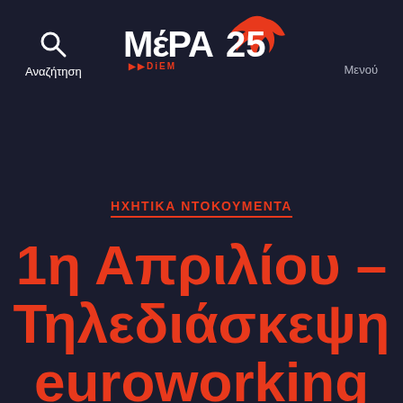Αναζήτηση  ΜέΡΑ25 DiEM  Μενού
ΗΧΗΤΙΚΑ ΝΤΟΚΟΥΜΕΝΤΑ
1η Απριλίου – Τηλεδιάσκεψη euroworking